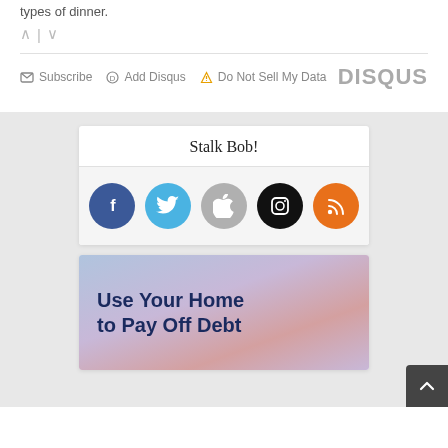types of dinner.
Subscribe  Add Disqus  Do Not Sell My Data  DISQUS
Stalk Bob!
[Figure (infographic): Five social media icon circles: Facebook (blue), Twitter (light blue), Apple (gray), Instagram (black), RSS (orange)]
[Figure (illustration): Advertisement image with sky background and bold text: Use Your Home to Pay Off Debt]